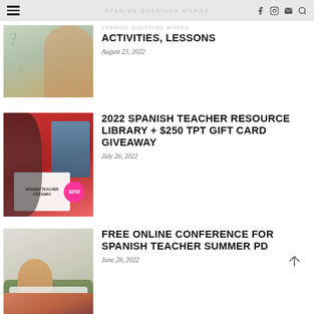SPANISH QUESTION WORDS ACTIVITIES, LESSONS
[Figure (photo): Woman with glasses thinking surrounded by question marks]
SPANISH QUESTION WORDS ACTIVITIES, LESSONS
August 23, 2022
[Figure (photo): Woman with hands over mouth next to Spanish teacher giveaway poster showing $250]
2022 SPANISH TEACHER RESOURCE LIBRARY + $250 TPT GIFT CARD GIVEAWAY
July 26, 2022
[Figure (photo): Woman sitting on green couch with laptop]
FREE ONLINE CONFERENCE FOR SPANISH TEACHER SUMMER PD
June 28, 2022
[Figure (photo): Partial image of person with books (cropped at bottom)]